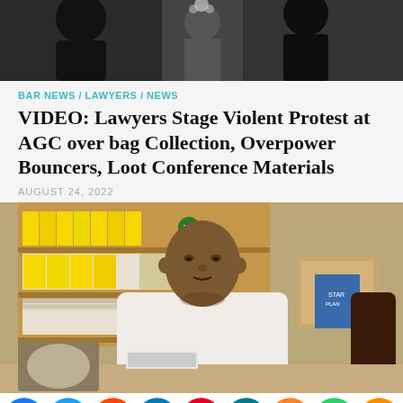[Figure (photo): Top partial photo showing people in dark/formal attire, partially cropped]
BAR NEWS / LAWYERS / NEWS
VIDEO: Lawyers Stage Violent Protest at AGC over bag Collection, Overpower Bouncers, Loot Conference Materials
AUGUST 24, 2022
[Figure (photo): Man in white shirt seated at a desk with shelves of yellow files and documents in the background]
[Figure (infographic): Social media share bar with icons for Facebook, Twitter, Reddit, LinkedIn, Pinterest, MeWe, Mix, WhatsApp, and a share button]